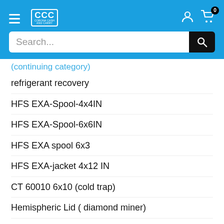CCC Corona Cash and Carry — navigation header with search bar
refrigerant recovery
HFS EXA-Spool-4x4IN
HFS EXA-Spool-6x6IN
HFS EXA spool 6x3
HFS EXA-jacket 4x12 IN
CT 60010 6x10 (cold trap)
Hemispheric Lid ( diamond miner)
6" diamond miner with adjustable relive valve
6" diamond miner with removable bottom
4" diamond miner with adjustable releif valve
EXA lid 12 A